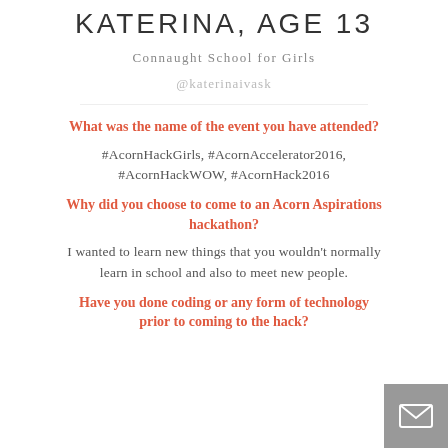KATERINA, AGE 13
Connaught School for Girls
@katerinaivask
What was the name of the event you have attended?
#AcornHackGirls, #AcornAccelerator2016, #AcornHackWOW, #AcornHack2016
Why did you choose to come to an Acorn Aspirations hackathon?
I wanted to learn new things that you wouldn't normally learn in school and also to meet new people.
Have you done coding or any form of technology prior to coming to the hack?